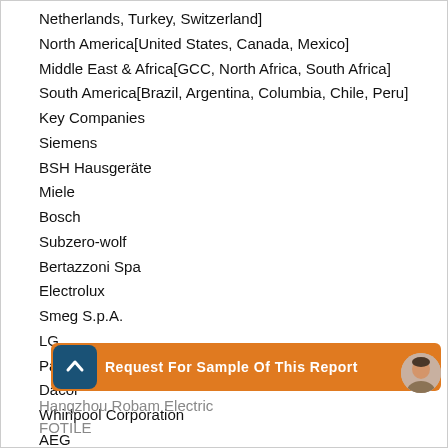Netherlands, Turkey, Switzerland]
North America[United States, Canada, Mexico]
Middle East & Africa[GCC, North Africa, South Africa]
South America[Brazil, Argentina, Columbia, Chile, Peru]
Key Companies
Siemens
BSH Hausgeräte
Miele
Bosch
Subzero-wolf
Bertazzoni Spa
Electrolux
Smeg S.p.A.
LG
Panasonic
Dacor
Whirlpool Corporation
AEG
[Figure (other): Orange banner with arrow-up button and text 'Request For Sample Of This Report', with an avatar image on the right]
Hangzhou Robam Electric
FOTILE